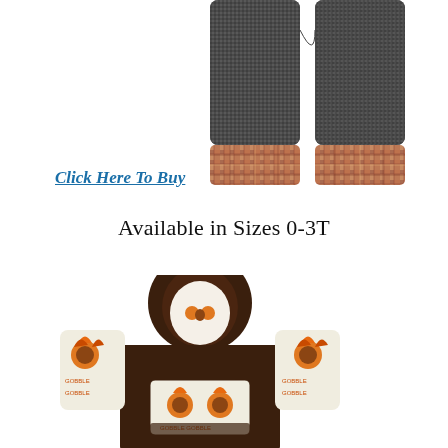[Figure (photo): Close-up photo of dark grey marled baby pants with brown and tan plaid cuffs at the ankles, shown from roughly knee-down, cropped at an angle.]
Click Here To Buy
Available in Sizes 0-3T
[Figure (photo): Photo of a baby hoodie sweatshirt with dark brown body and hood, featuring a turkey/Gobble gobble print pattern on the sleeves and kangaroo pocket area, with colorful turkey graphics on white fabric panels.]